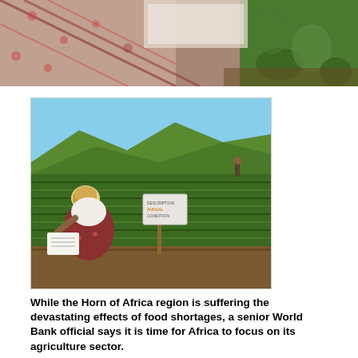[Figure (photo): Top cropped photo showing a woman in floral dress crouching in a field, partial view from above]
[Figure (photo): Woman in traditional African dress and head wrap crouching in an agricultural field, writing in a notebook next to a wooden sign post with a label, green crop rows in background on a hillside, blue sky]
While the Horn of Africa region is suffering the devastating effects of food shortages, a senior World Bank official says it is time for Africa to focus on its agriculture sector.
Some 12.4 million people in the Horn of Africa currently require humanitarian assistance as a result of food shortages, the U.N. estimates.
But according to Nigerian Obiageli Ezekwesili, vice president of the World Bank's Africa region, market reforms to encourage the growth of new agri-businesses could help tackle food insecurity in the future and help African nations become major food exporters.